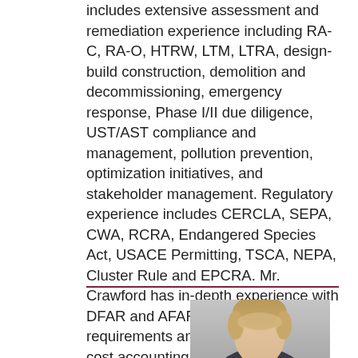includes extensive assessment and remediation experience including RA-C, RA-O, HTRW, LTM, LTRA, design-build construction, demolition and decommissioning, emergency response, Phase I/II due diligence, UST/AST compliance and management, pollution prevention, optimization initiatives, and stakeholder management. Regulatory experience includes CERCLA, SEPA, CWA, RCRA, Endangered Species Act, USACE Permitting, TSCA, NEPA, Cluster Rule and EPCRA. Mr. Crawford has in-depth experience with DFAR and AFAR contractor requirements and DCAA compliant cost accounting systems.
[Figure (photo): Headshot photograph of a man with light brown hair, wearing professional attire, against a gray background. Only the top portion of the photo is visible.]